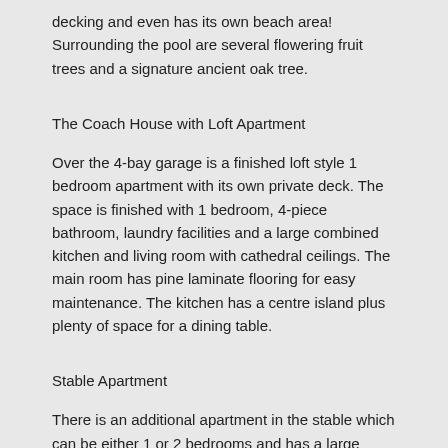decking and even has its own beach area! Surrounding the pool are several flowering fruit trees and a signature ancient oak tree.
The Coach House with Loft Apartment
Over the 4-bay garage is a finished loft style 1 bedroom apartment with its own private deck. The space is finished with 1 bedroom, 4-piece bathroom, laundry facilities and a large combined kitchen and living room with cathedral ceilings. The main room has pine laminate flooring for easy maintenance. The kitchen has a centre island plus plenty of space for a dining table.
Stable Apartment
There is an additional apartment in the stable which can be either 1 or 2 bedrooms and has a large combined kitchen and living space which opens onto an over-sized covered deck. This is a very well finished apartment designed for staff living. The apartment has its own laundry facilities and a 3 piece bathroom.